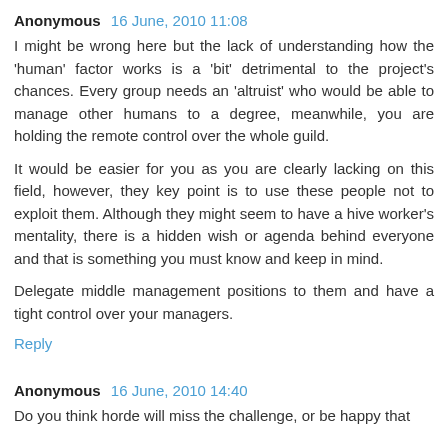Anonymous 16 June, 2010 11:08
I might be wrong here but the lack of understanding how the 'human' factor works is a 'bit' detrimental to the project's chances. Every group needs an 'altruist' who would be able to manage other humans to a degree, meanwhile, you are holding the remote control over the whole guild.
It would be easier for you as you are clearly lacking on this field, however, they key point is to use these people not to exploit them. Although they might seem to have a hive worker's mentality, there is a hidden wish or agenda behind everyone and that is something you must know and keep in mind.
Delegate middle management positions to them and have a tight control over your managers.
Reply
Anonymous 16 June, 2010 14:40
Do you think horde will miss the challenge, or be happy that